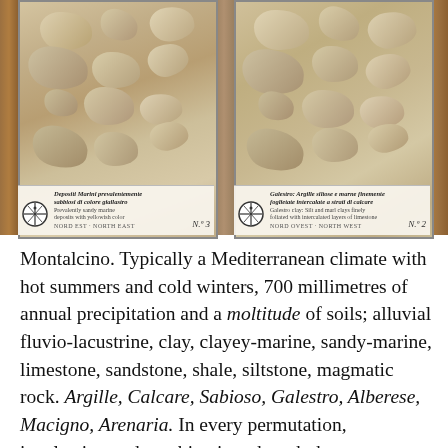[Figure (photo): Two side-by-side soil sample trays showing rock/soil specimens from Montalcino. Left tray labeled No.3: 'Depositi Marini prevalentemente sabbiosi di colore giallastro / Prevalently sandy marine deposits with yellowish color', orientation NORD EST · NORTH EAST. Right tray labeled No.2: 'Galestro: Argille siltose e marne finemente foglietate intercalate a strati di calcare / Galestro clay: Silt and marl clays finely foliated with intercalated layers of limestone', orientation NORD OVEST · NORTH WEST.]
Montalcino. Typically a Mediterranean climate with hot summers and cold winters, 700 millimetres of annual precipitation and a moltitude of soils; alluvial fluvio-lacustrine, clay, clayey-marine, sandy-marine, limestone, sandstone, shale, siltstone, magmatic rock. Argille, Calcare, Sabioso, Galestro, Alberese, Macigno, Arenaria. In every permutation, inculcation and combination, though the understanding in Montalcino is perhaps more readily defined because the pockets of specific soils are large and